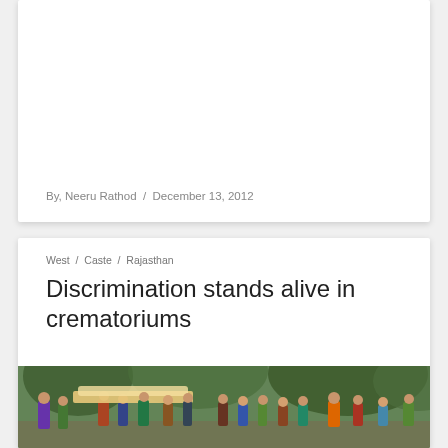By, Neeru Rathod / December 13, 2012
West / Caste / Rajasthan
Discrimination stands alive in crematoriums
[Figure (photo): People carrying a body during a funeral procession, outdoors with green foliage in background]